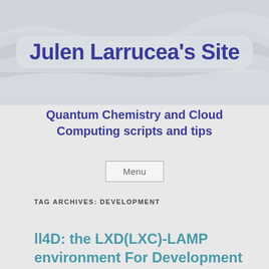Julen Larrucea's Site
Quantum Chemistry and Cloud Computing scripts and tips
Menu
TAG ARCHIVES: DEVELOPMENT
ll4D: the LXD(LXC)-LAMP environment For Development